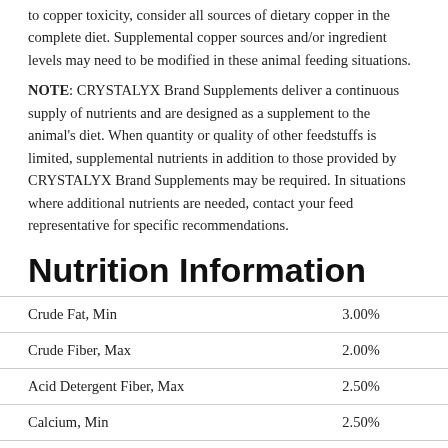...maintain a Foley Daily status, which are known to be sensitive to copper toxicity, consider all sources of dietary copper in the complete diet. Supplemental copper sources and/or ingredient levels may need to be modified in these animal feeding situations.
NOTE: CRYSTALYX Brand Supplements deliver a continuous supply of nutrients and are designed as a supplement to the animal's diet. When quantity or quality of other feedstuffs is limited, supplemental nutrients in addition to those provided by CRYSTALYX Brand Supplements may be required. In situations where additional nutrients are needed, contact your feed representative for specific recommendations.
Nutrition Information
| Nutrient | Value |
| --- | --- |
| Crude Fat, Min | 3.00% |
| Crude Fiber, Max | 2.00% |
| Acid Detergent Fiber, Max | 2.50% |
| Calcium, Min | 2.50% |
| Calcium, Max | 3.50% |